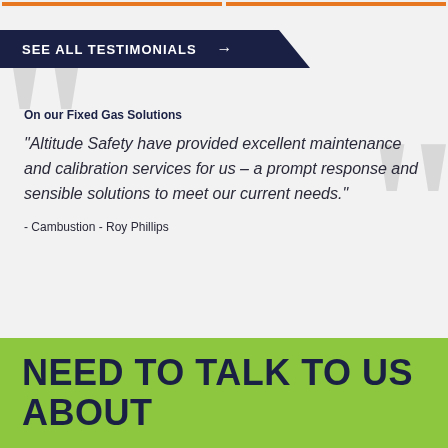SEE ALL TESTIMONIALS →
On our Fixed Gas Solutions
"Altitude Safety have provided excellent maintenance and calibration services for us – a prompt response and sensible solutions to meet our current needs."
- Cambustion - Roy Phillips
NEED TO TALK TO US ABOUT